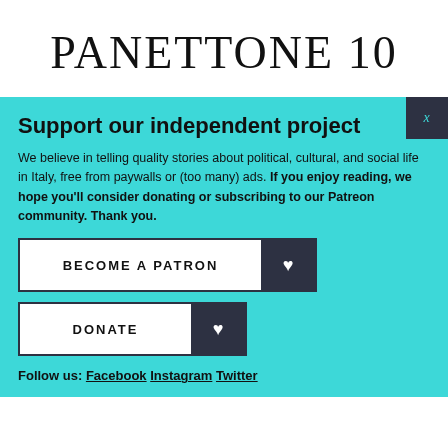PANETTONE 10
Support our independent project
We believe in telling quality stories about political, cultural, and social life in Italy, free from paywalls or (too many) ads. If you enjoy reading, we hope you'll consider donating or subscribing to our Patreon community. Thank you.
BECOME A PATRON ♥
DONATE ♥
Follow us: Facebook Instagram Twitter